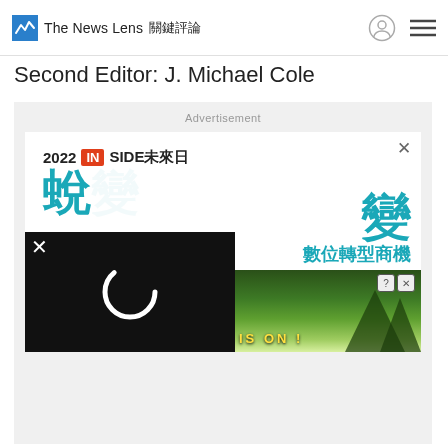The News Lens 關鍵評論
Second Editor: J. Michael Cole
[Figure (screenshot): Advertisement area showing: 1) An INSIDE 2022 ad in Chinese about digital transformation (2022 INSIDE未來日, 蛻變, 數位轉型商機, 造業、資通業...) 2) A black loading overlay with a spinner icon and X close button 3) A Wolf Game ad at the bottom with wolves in a forest scene and text 'THE HUNT IS ON!' and 'Powered by GliaStudio']